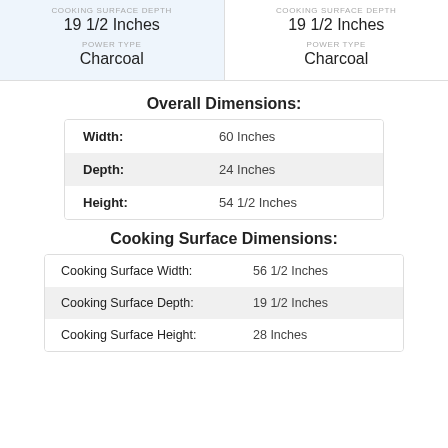| COOKING SURFACE DEPTH | COOKING SURFACE DEPTH |
| 19 1/2 Inches | 19 1/2 Inches |
| POWER TYPE | POWER TYPE |
| Charcoal | Charcoal |
Overall Dimensions:
|  |  |
| --- | --- |
| Width: | 60 Inches |
| Depth: | 24 Inches |
| Height: | 54 1/2 Inches |
Cooking Surface Dimensions:
|  |  |
| --- | --- |
| Cooking Surface Width: | 56 1/2 Inches |
| Cooking Surface Depth: | 19 1/2 Inches |
| Cooking Surface Height: | 28 Inches |